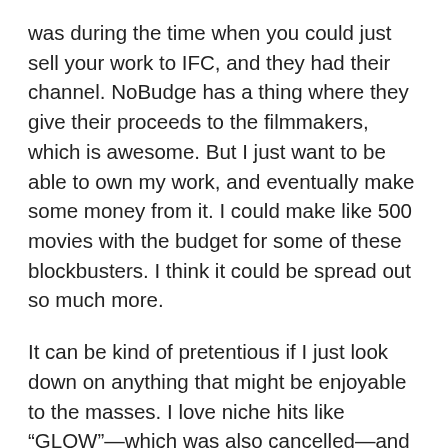was during the time when you could just sell your work to IFC, and they had their channel. NoBudge has a thing where they give their proceeds to the filmmakers, which is awesome. But I just want to be able to own my work, and eventually make some money from it. I could make like 500 movies with the budget for some of these blockbusters. I think it could be spread out so much more.
It can be kind of pretentious if I just look down on anything that might be enjoyable to the masses. I love niche hits like “GLOW”—which was also cancelled—and the algorithm brought so many people to that show, including my friend, who is a nurse. Geographically, COVID has connected us to the coasts—and the whole world—and I think there should be more movies made regionally. That’s why I’m pretty intense about staying in Chicago right now,